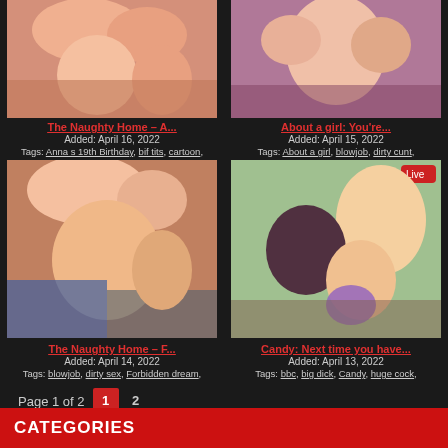[Figure (illustration): Cartoon adult illustration - The Naughty Home top left thumbnail]
The Naughty Home – A...
Added: April 16, 2022
Tags: Anna s 19th Birthday, bif tits, cartoon,
[Figure (illustration): Cartoon adult illustration - About a girl top right thumbnail]
About a girl: You're...
Added: April 15, 2022
Tags: About a girl, blowjob, dirty cunt,
[Figure (illustration): Cartoon adult illustration - The Naughty Home bottom left large]
The Naughty Home – F...
Added: April 14, 2022
Tags: blowjob, dirty sex, Forbidden dream,
[Figure (illustration): Cartoon adult illustration - Candy: Next time you have bottom right large]
Candy: Next time you have...
Added: April 13, 2022
Tags: bbc, big dick, Candy, huge cock,
Page 1 of 2   1   2
CATEGORIES